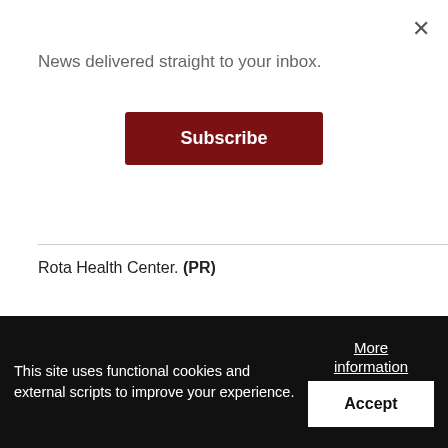×
News delivered straight to your inbox.
Subscribe
Rota Health Center. (PR)
This site uses functional cookies and external scripts to improve your experience.
More information
Accept